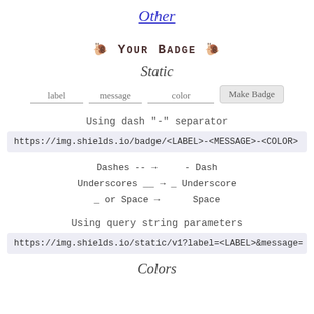Other
🐌 YOUR BADGE 🐌
Static
label   message   color   Make Badge
Using dash "-" separator
https://img.shields.io/badge/<LABEL>-<MESSAGE>-<COLOR>
Dashes -- → - Dash
Underscores __ → _ Underscore
_ or Space → Space
Using query string parameters
https://img.shields.io/static/v1?label=<LABEL>&message=
Colors